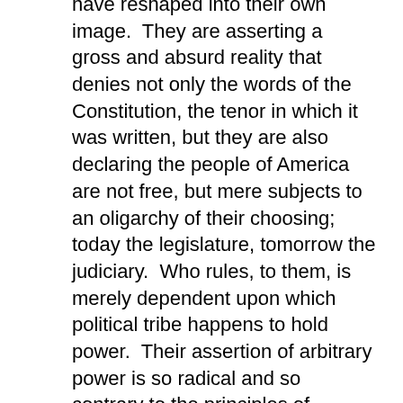have reshaped into their own image.  They are asserting a gross and absurd reality that denies not only the words of the Constitution, the tenor in which it was written, but they are also declaring the people of America are not free, but mere subjects to an oligarchy of their choosing; today the legislature, tomorrow the judiciary.  Who rules, to them, is merely dependent upon which political tribe happens to hold power.  Their assertion of arbitrary power is so radical and so contrary to the principles of Liberty, they have to resort to label-lynching and fallacies of logic.  They have no basis in fact or history, so they want to scare and intimidate every American from learning the truth.
This political bullying will only stop when the people learn truth and those who know truth are no longer afraid to speak it out loud, just like Mr. Whitaker.  I applaud Matthew Whitaker for his statements.  I just